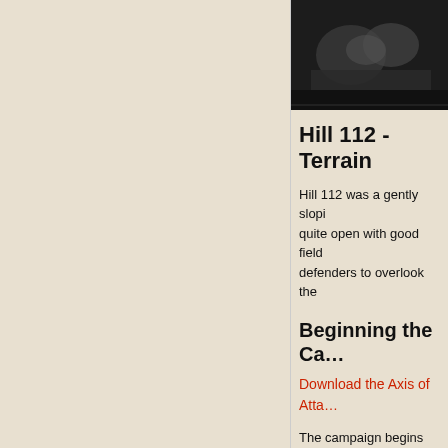[Figure (photo): Black and white photograph of military equipment or scene related to Hill 112]
Hill 112 - Terrain
Hill 112 was a gently slopi... quite open with good field... defenders to overlook the...
Beginning the Ca...
Download the Axis of Atta...
The campaign begins with... are four players then one... attack.
The campaign can also us... that one armoured compa...
29th Brigade's
1. Evrecy...
2. Hill 112 an...
3. Counter-Att...